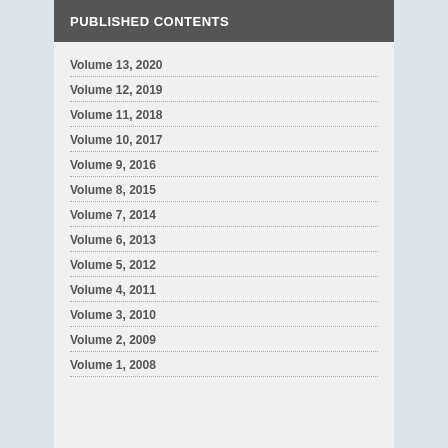PUBLISHED CONTENTS
Volume 13, 2020
Volume 12, 2019
Volume 11, 2018
Volume 10, 2017
Volume 9, 2016
Volume 8, 2015
Volume 7, 2014
Volume 6, 2013
Volume 5, 2012
Volume 4, 2011
Volume 3, 2010
Volume 2, 2009
Volume 1, 2008